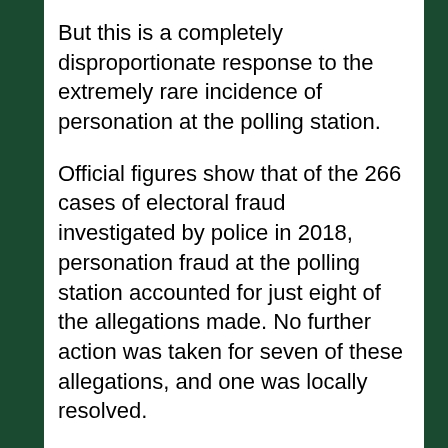But this is a completely disproportionate response to the extremely rare incidence of personation at the polling station.
Official figures show that of the 266 cases of electoral fraud investigated by police in 2018, personation fraud at the polling station accounted for just eight of the allegations made. No further action was taken for seven of these allegations, and one was locally resolved.
At the last election, several Tory MPs claimed that many young people had voted more than once. However, following